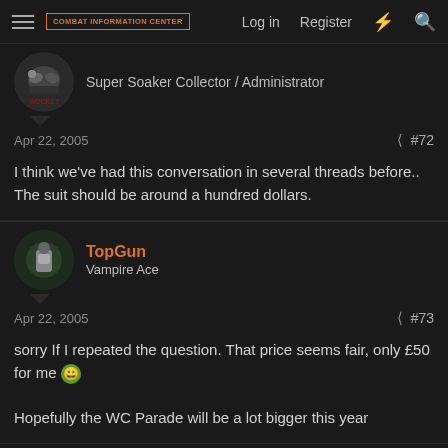Combat Information Center | Log in | Register
Super Soaker Collector / Administrator
Apr 22, 2005  #72
I think we've had this conversation in several threads before.. The suit should be around a hundred dollars.
TopGun
Vampire Ace
Apr 22, 2005  #73
sorry If I repeated the question. That price seems fair, only £50 for me 😁

Hopefully the WC Parade will be a lot bigger this year
Shades2585